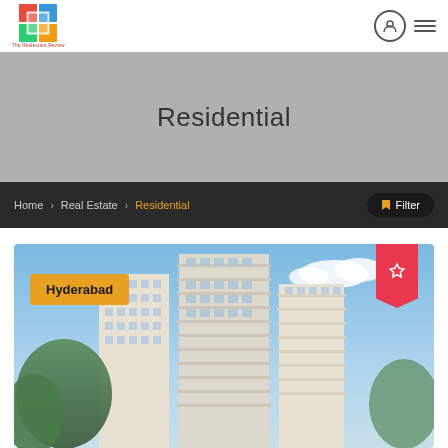The Realestate Review - Navigation Header
Residential
Home › Real Estate › Residential
Filter
[Figure (photo): High-rise residential apartment buildings with blue sky background, Hyderabad location tag and bookmark icon overlay]